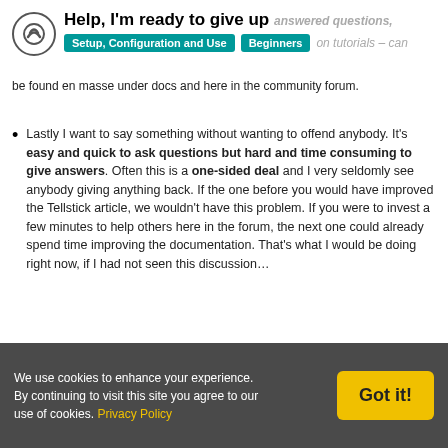Help, I'm ready to give up | Setup, Configuration and Use | Beginners
be found en masse under docs and here in the community forum.
Lastly I want to say something without wanting to offend anybody. It's easy and quick to ask questions but hard and time consuming to give answers. Often this is a one-sided deal and I very seldomly see anybody giving anything back. If the one before you would have improved the Tellstick article, we wouldn't have this problem. If you were to invest a few minutes to help others here in the forum, the next one could already spend time improving the documentation. That's what I would be doing right now, if I had not seen this discussion…
openHAB is not an iPhone. It's a complex diverse framework for home automation covering hundreds of technologies and
We use cookies to enhance your experience. By continuing to visit this site you agree to our use of cookies. Privacy Policy